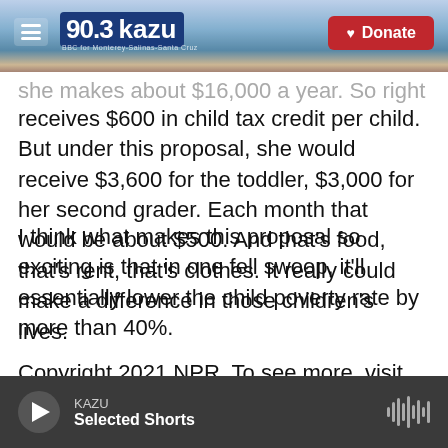90.3 KAZU | Donate
she makes about $16,000 a year. So right now, she receives $600 in child tax credit per child. But under this proposal, she would receive $3,600 for the toddler, $3,000 for her second grader. Each month that would be about $500. And that's food, that's rent, that's clothes. It really could make a difference in those children's lives.
I think what makes this proposal so exciting is that in one fell swoop, it'll essentially lower the child poverty rate by more than 40%.
Copyright 2021 NPR. To see more, visit https://www.npr.org
KAZU
Selected Shorts